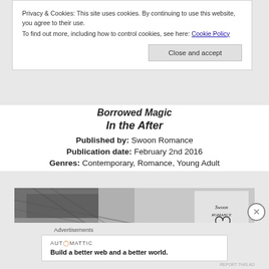Privacy & Cookies: This site uses cookies. By continuing to use this website, you agree to their use. To find out more, including how to control cookies, see here: Cookie Policy
Close and accept
Borrowed Magic
In the After
Published by: Swoon Romance
Publication date: February 2nd 2016
Genres: Contemporary, Romance, Young Adult
[Figure (photo): Black and white close-up of hair, with Swoon Romance logo in top right corner]
Advertisements
AUTOMATTIC
Build a better web and a better world.
REPORT THIS AD